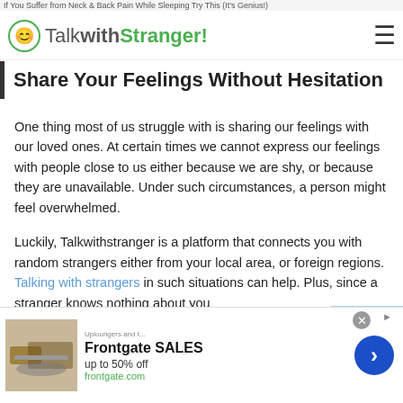If You Suffer from Neck & Back Pain While Sleeping Try This (It's Genius!)
TalkwithStranger!
Share Your Feelings Without Hesitation
One thing most of us struggle with is sharing our feelings with our loved ones. At certain times we cannot express our feelings with people close to us either because we are shy, or because they are unavailable. Under such circumstances, a person might feel overwhelmed.
Luckily, Talkwithstranger is a platform that connects you with random strangers either from your local area, or foreign regions. Talking with strangers in such situations can help. Plus, since a stranger knows nothing about you or your loved ones, they will give you advice without any
[Figure (screenshot): Frontgate SALES advertisement banner with outdoor furniture image, 'up to 50% off', frontgate.com URL, close button, and blue arrow CTA button]